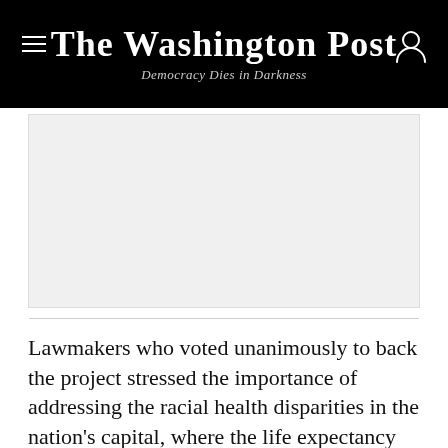The Washington Post
Democracy Dies in Darkness
[Figure (other): Advertisement placeholder area, light gray rectangle]
Lawmakers who voted unanimously to back the project stressed the importance of addressing the racial health disparities in the nation's capital, where the life expectancy for Black men is 17 years less than for